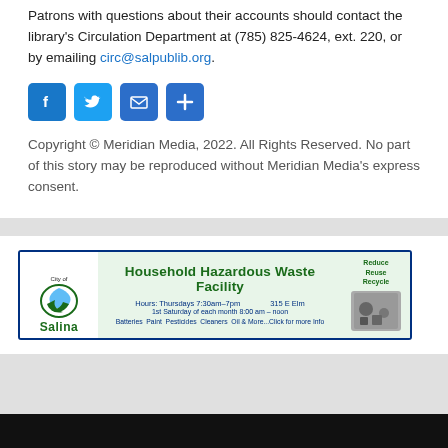Patrons with questions about their accounts should contact the library's Circulation Department at (785) 825-4624, ext. 220, or by emailing circ@salpublib.org.
[Figure (infographic): Social media share icons: Facebook (blue), Twitter (blue), Email (blue envelope), More/Plus (blue)]
Copyright © Meridian Media, 2022. All Rights Reserved. No part of this story may be reproduced without Meridian Media's express consent.
[Figure (infographic): City of Salina Household Hazardous Waste Facility advertisement banner. Hours: Thursdays 7:30am-7pm, 315 E Elm, 1st Saturday of each month 8:00 am - noon. Batteries Paint Pesticides Cleaners Oil & More...Click for more Info. Reduce Reuse Recycle logo.]